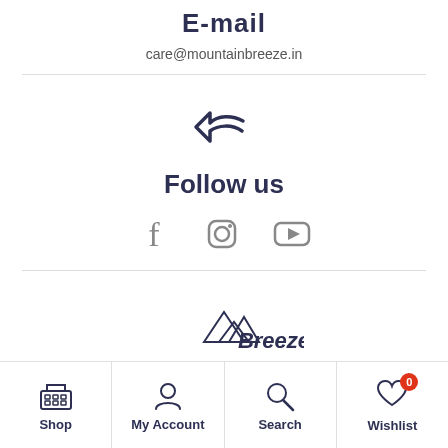E-mail
care@mountainbreeze.in
[Figure (illustration): Reply/undo arrow icon in dark navy blue]
Follow us
[Figure (illustration): Social media icons: Facebook, Instagram, YouTube in gray]
[Figure (logo): Mountain Breeze logo partially visible at bottom]
Shop | My Account | Search | Wishlist (0)